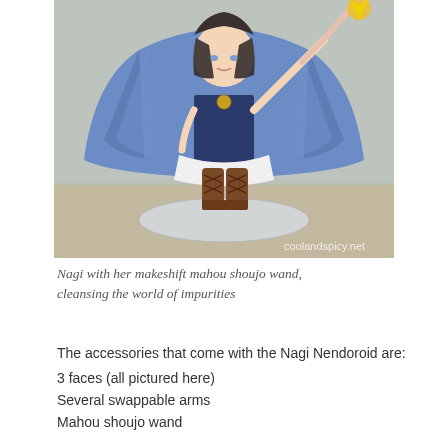[Figure (photo): A Nagi Nendoroid figure holding a makeshift mahou shoujo wand, wearing a blue outfit with a dark apron, brown boots, standing on a clear circular base. The watermark 'coolandspicy.net' appears in the bottom right corner of the photo.]
Nagi with her makeshift mahou shoujo wand, cleansing the world of impurities
The accessories that come with the Nagi Nendoroid are:
3 faces (all pictured here)
Several swappable arms
Mahou shoujo wand
Microphone
1 alternate leg (bent knee)